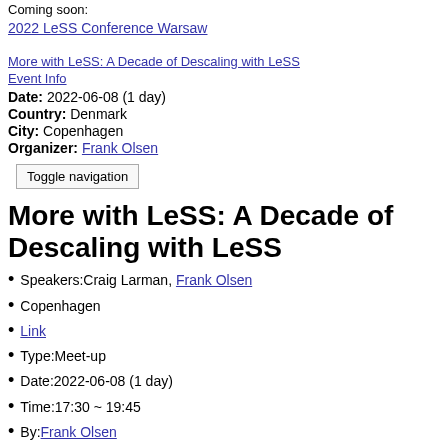Coming soon: 2022 LeSS Conference Warsaw
More with LeSS: A Decade of Descaling with LeSS
Event Info
Date: 2022-06-08 (1 day)
Country: Denmark
City: Copenhagen
Organizer: Frank Olsen
Toggle navigation
More with LeSS: A Decade of Descaling with LeSS
Speakers:Craig Larman, Frank Olsen
Copenhagen
Link
Type:Meet-up
Date:2022-06-08 (1 day)
Time:17:30 ~ 19:45
By:Frank Olsen
Language:English
Share
Tweet